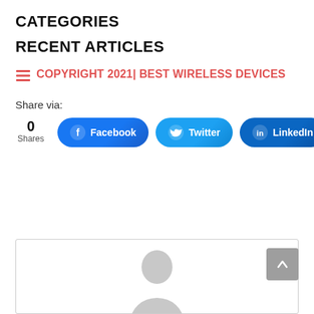CATEGORIES
RECENT ARTICLES
COPYRIGHT 2021| BEST WIRELESS DEVICES
Share via:
[Figure (other): Share buttons row: count 0 Shares, Facebook button, Twitter button, LinkedIn button]
[Figure (other): Author box with grey avatar silhouette placeholder and scroll-to-top button]